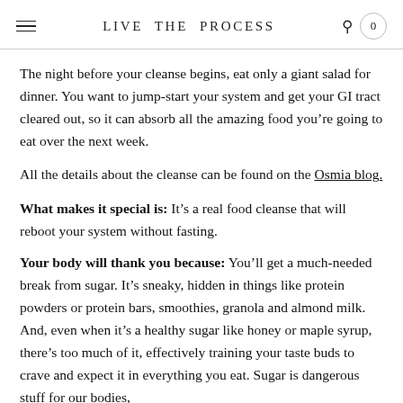LIVE THE PROCESS
The night before your cleanse begins, eat only a giant salad for dinner. You want to jump-start your system and get your GI tract cleared out, so it can absorb all the amazing food you’re going to eat over the next week.
All the details about the cleanse can be found on the Osmia blog.
What makes it special is: It’s a real food cleanse that will reboot your system without fasting.
Your body will thank you because: You’ll get a much-needed break from sugar. It’s sneaky, hidden in things like protein powders or protein bars, smoothies, granola and almond milk. And, even when it’s a healthy sugar like honey or maple syrup, there’s too much of it, effectively training your taste buds to crave and expect it in everything you eat. Sugar is dangerous stuff for our bodies,